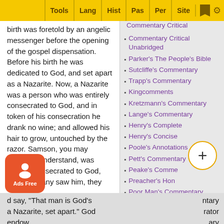Tools | Lang | Hist | Pas | Per | Site
birth was foretold by an angelic messenger before the opening of the gospel dispensation. Before his birth he was dedicated to God, and set apart as a Nazarite. Now, a Nazarite was a person who was entirely consecrated to God, and in token of his consecration he drank no wine; and allowed his hair to grow, untouched by the razor. Samson, you may therefore understand, was entirely consecrated to God, and when any saw him, they d say, "That man is God's a Nazarite, set apart." God endow super stren
Commentary Critical Unabridged
Parker's The People's Bible
Sutcliffe's Commentary
Trapp's Commentary
Kingcomments
Kretzmann's Commentary
Lange's Commentary
Henry's Complete
Henry's Concise
Poole's Annotations
Pett's Commentary
Peake's Comme
Preacher's Hon
Poor Man's Commentary